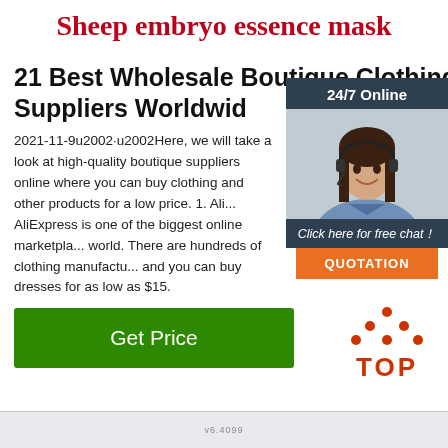Sheep embryo essence mask
21 Best Wholesale Boutique Clothing Suppliers Worldwide
2021-11-9u2002·u2002Here, we will take a look at high-quality boutique suppliers online where you can buy clothing and other products for a low price. 1. Ali... AliExpress is one of the biggest online marketplaces in the world. There are hundreds of clothing manufacturers and you can buy dresses for as low as $15.
[Figure (infographic): Green 'Get Price' button]
[Figure (photo): 24/7 Online chat widget with photo of woman wearing headset, 'Click here for free chat!' text, and orange QUOTATION button]
[Figure (infographic): Red TOP navigation button with dots above]
[Figure (screenshot): Bottom strip image thumbnail area]